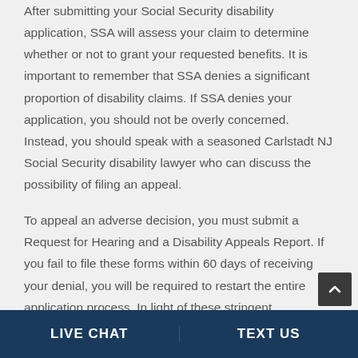After submitting your Social Security disability application, SSA will assess your claim to determine whether or not to grant your requested benefits. It is important to remember that SSA denies a significant proportion of disability claims. If SSA denies your application, you should not be overly concerned. Instead, you should speak with a seasoned Carlstadt NJ Social Security disability lawyer who can discuss the possibility of filing an appeal.
To appeal an adverse decision, you must submit a Request for Hearing and a Disability Appeals Report. If you fail to file these forms within 60 days of receiving your denial, you will be required to restart the entire application process. In light of these stringent
LIVE CHAT   TEXT US